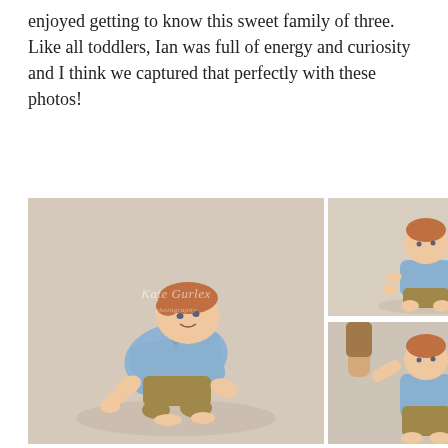enjoyed getting to know this sweet family of three. Like all toddlers, Ian was full of energy and curiosity and I think we captured that perfectly with these photos!
[Figure (photo): Three-panel photo collage of a toddler named Ian in a blue shirt and khaki shorts on a beige/tan studio backdrop. Left panel: large image of the toddler crawling toward the camera with a watermark reading 'Kate Gurlen Photography'. Top-right panel: smaller image of the toddler crawling/crouching. Bottom-right panel: toddler standing upright holding an adult's hands for support.]